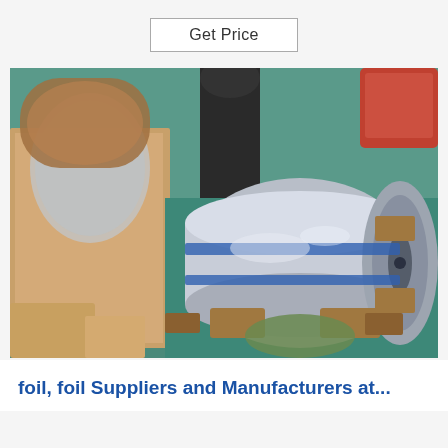Get Price
[Figure (photo): Industrial aluminum foil rolls on wooden support blocks on a teal floor, with packaging materials and cardboard boxes around them in a warehouse setting.]
foil, foil Suppliers and Manufacturers at...